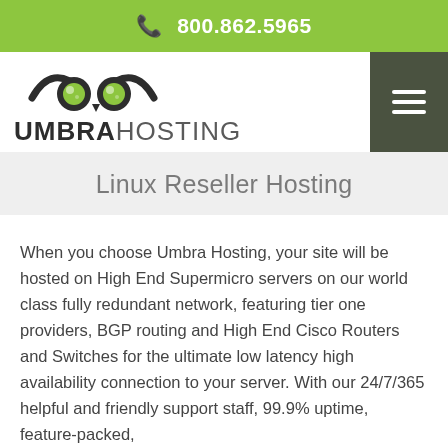800.862.5965
[Figure (logo): Umbra Hosting logo with owl graphic above the text UMBRAHOSTING]
Linux Reseller Hosting
When you choose Umbra Hosting, your site will be hosted on High End Supermicro servers on our world class fully redundant network, featuring tier one providers, BGP routing and High End Cisco Routers and Switches for the ultimate low latency high availability connection to your server. With our 24/7/365 helpful and friendly support staff, 99.9% uptime, feature-packed,